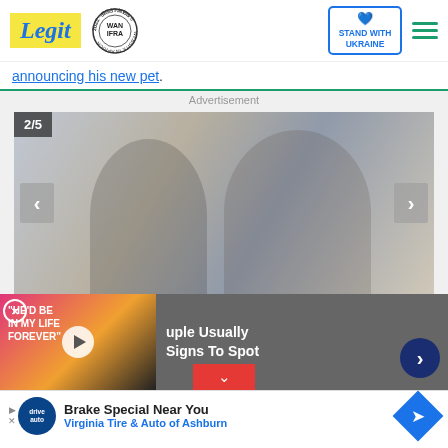Legit — WAN IFRA 2021 Best News Website in Africa — STAND WITH UKRAINE
announcing his new pet.
Advertisement
[Figure (photo): Slideshow image 2/5 showing a couple relaxing on a couch with eyes closed. Left and right navigation arrows visible.]
[Figure (photo): Overlapping ad content: left panel shows video thumbnail with text 'HE'D BE IN MY LIFE FOREVER' with play button; right panel shows text 'uple Usually Signs To Spot' with a navy arrow button]
[Figure (infographic): Bottom advertisement banner: Brake Special Near You — Virginia Tire & Auto of Ashburn, with auto service logo and blue diamond arrow icon]